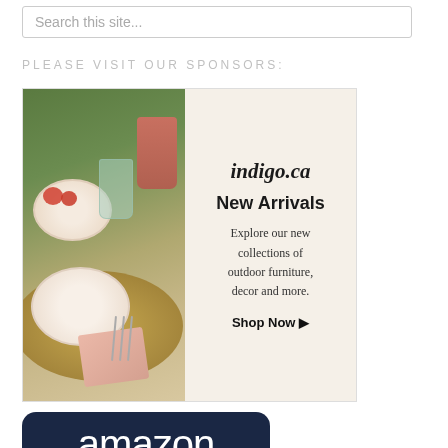Search this site...
PLEASE VISIT OUR SPONSORS:
[Figure (illustration): Indigo.ca advertisement banner showing outdoor dining table setting on left with plates, bowl, mug, glasses, woven placemat and pink napkin on cream colored background, and on right side cream background with text: indigo.ca, New Arrivals, Explore our new collections of outdoor furniture, decor and more. Shop Now ▶]
[Figure (logo): Amazon advertisement banner with dark navy blue background showing white 'amazon' text logo with yellow arrow underneath, partially visible at bottom of page]